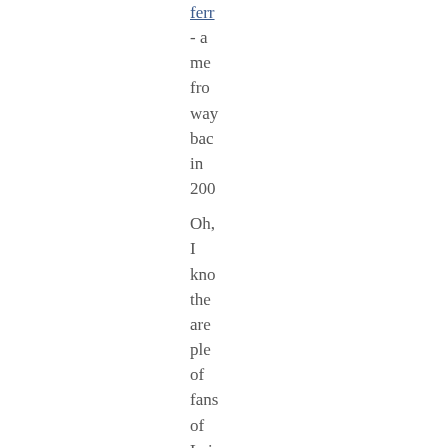ferr - a me fro way bac in 200 Oh, I kno the are ple of fans of Lei — esp in the sos